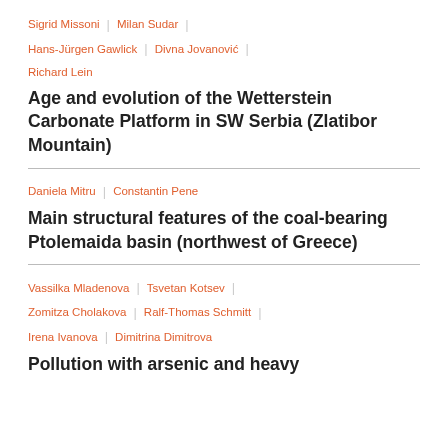Sigrid Missoni | Milan Sudar | Hans-Jürgen Gawlick | Divna Jovanović | Richard Lein
Age and evolution of the Wetterstein Carbonate Platform in SW Serbia (Zlatibor Mountain)
Daniela Mitru | Constantin Pene
Main structural features of the coal-bearing Ptolemaida basin (northwest of Greece)
Vassilka Mladenova | Tsvetan Kotsev | Zomitza Cholakova | Ralf-Thomas Schmitt | Irena Ivanova | Dimitrina Dimitrova
Pollution with arsenic and heavy